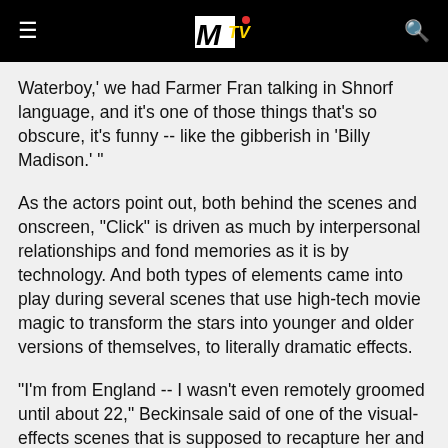MTV logo header with menu and search icons
Waterboy,' we had Farmer Fran talking in Shnorf language, and it's one of those things that's so obscure, it's funny -- like the gibberish in 'Billy Madison.' "
As the actors point out, both behind the scenes and onscreen, "Click" is driven as much by interpersonal relationships and fond memories as it is by technology. And both types of elements came into play during several scenes that use high-tech movie magic to transform the stars into younger and older versions of themselves, to literally dramatic effects.
"I'm from England -- I wasn't even remotely groomed until about 22," Beckinsale said of one of the visual-effects scenes that is supposed to recapture her and Sandler as innocent teenagers. "I was a monster at 17,"